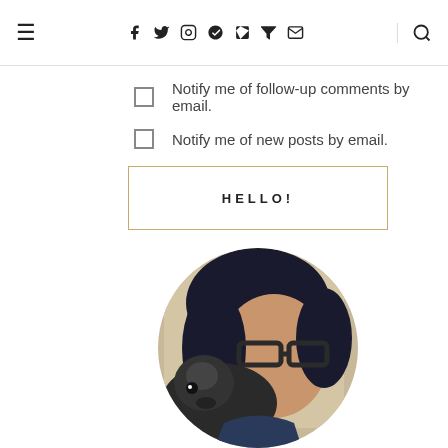≡  f  t  instagram  pinterest  tumblr  mail  search
Notify me of follow-up comments by email.
Notify me of new posts by email.
HELLO!
[Figure (photo): Circular photo of a woman with dark hair and glasses holding a small dark fluffy dog, set against a light indoor background.]